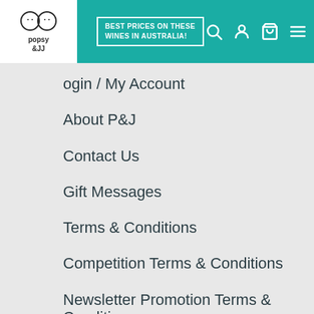Popsy & JJ — Best Prices on These Wines in Australia!
ogin / My Account
About P&J
Contact Us
Gift Messages
Terms & Conditions
Competition Terms & Conditions
Newsletter Promotion Terms & Conditions
Recipes
Return & Refunds
Blog
Prize Winners
Pricing Policy